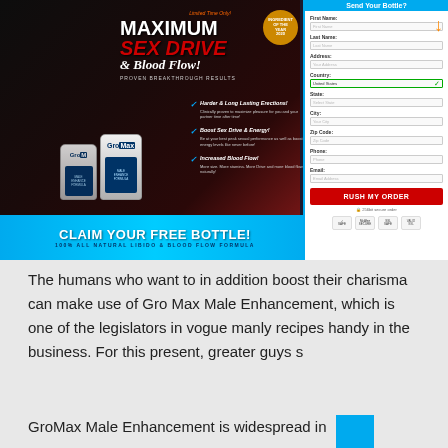[Figure (photo): Advertisement for GroMax Male Enhancement supplement showing a couple, product bottles, a form to claim a free bottle, and marketing text about Maximum Sex Drive & Blood Flow]
The humans who want to in addition boost their charisma can make use of Gro Max Male Enhancement, which is one of the legislators in vogue manly recipes handy in the business. For this present, greater guys s
GroMax Male Enhancement is widespread in